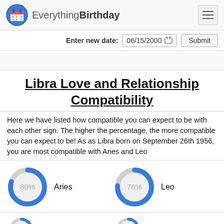EverythingBirthday
Enter new date: 06/15/2000 Submit
Libra Love and Relationship Compatibility
Here we have listed how compatible you can expect to be with each other sign. The higher the percentage, the more compatible you can expect to be! As as Libra born on September 26th 1956, you are most compatible with Aries and Leo
[Figure (donut-chart): Aries]
[Figure (donut-chart): Leo]
Sagittarius
Cancer